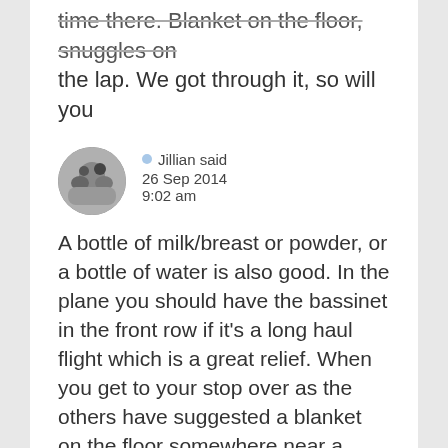time there. Blanket on the floor, snuggles on the lap. We got through it, so will you
Jillian said
26 Sep 2014
9:02 am
A bottle of milk/breast or powder, or a bottle of water is also good. In the plane you should have the bassinet in the front row if it's a long haul flight which is a great relief. When you get to your stop over as the others have suggested a blanket on the floor somewhere near a comfy seat. Or as one other said check with the airport or your airline prior to leaving if they have a pram that can be